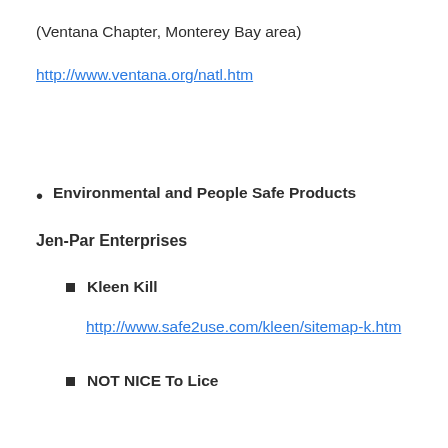(Ventana Chapter, Monterey Bay area)
http://www.ventana.org/natl.htm
Environmental and People Safe Products
Jen-Par Enterprises
Kleen Kill
http://www.safe2use.com/kleen/sitemap-k.htm
NOT NICE To Lice